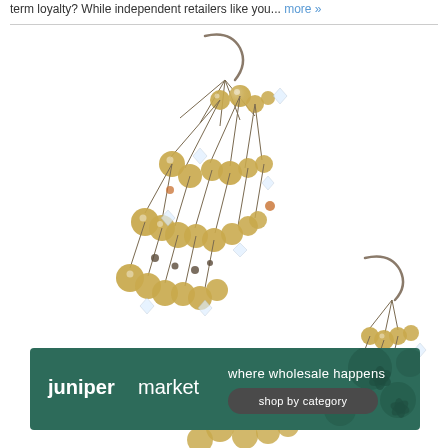term loyalty? While independent retailers like you... more »
[Figure (photo): Close-up photograph of dangling cluster earrings with golden/champagne pearl beads and crystal accents on metal wire hooks, shown against a white background. Two earrings visible, one larger cluster in foreground and one smaller cluster in background.]
[Figure (logo): Juniper Market banner advertisement: dark teal/green background with decorative floral/leaf motif. Left side shows 'junipermarket' in white text. Right side shows 'where wholesale happens' in white text above a rounded rectangle button reading 'shop by category'.]